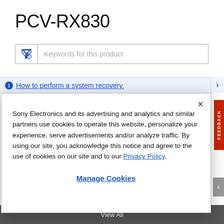PCV-RX830
[Figure (screenshot): Search/filter input box with funnel icon and placeholder text 'Keywords for this product']
How to perform a system recovery.
Sony Electronics and its advertising and analytics and similar partners use cookies to operate this website, personalize your experience, serve advertisements and/or analyze traffic. By using our site, you acknowledge this notice and agree to the use of cookies on our site and to our Privacy Policy.
Manage Cookies